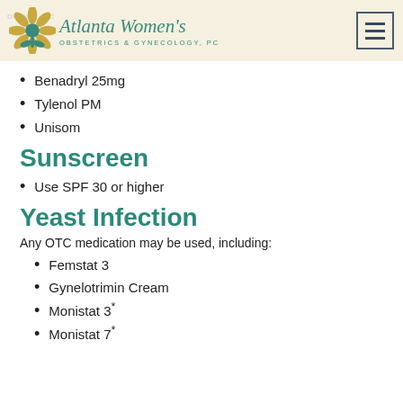Atlanta Women's Obstetrics & Gynecology, PC
Benadryl 25mg
Tylenol PM
Unisom
Sunscreen
Use SPF 30 or higher
Yeast Infection
Any OTC medication may be used, including:
Femstat 3
Gynelotrimin Cream
Monistat 3*
Monistat 7*